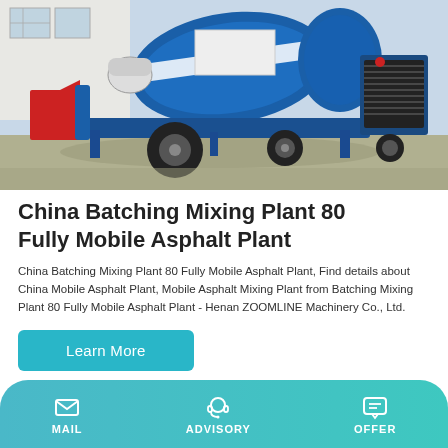[Figure (photo): Blue mobile asphalt batching mixing plant machinery on a concrete surface outdoors, with white building in background]
China Batching Mixing Plant 80 Fully Mobile Asphalt Plant
China Batching Mixing Plant 80 Fully Mobile Asphalt Plant, Find details about China Mobile Asphalt Plant, Mobile Asphalt Mixing Plant from Batching Mixing Plant 80 Fully Mobile Asphalt Plant - Henan ZOOMLINE Machinery Co., Ltd.
Learn More
MAIL   ADVISORY   OFFER